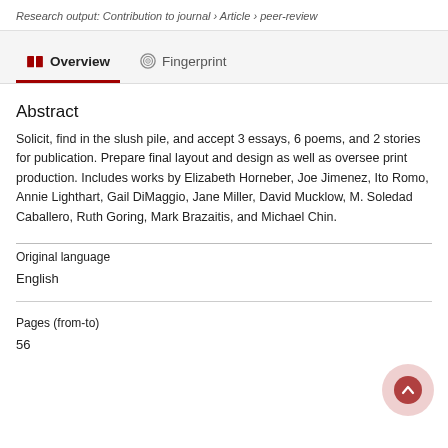Research output: Contribution to journal › Article › peer-review
Overview   Fingerprint
Abstract
Solicit, find in the slush pile, and accept 3 essays, 6 poems, and 2 stories for publication. Prepare final layout and design as well as oversee print production. Includes works by Elizabeth Horneber, Joe Jimenez, Ito Romo, Annie Lighthart, Gail DiMaggio, Jane Miller, David Mucklow, M. Soledad Caballero, Ruth Goring, Mark Brazaitis, and Michael Chin.
| Field | Value |
| --- | --- |
| Original language | English |
| Pages (from-to) | 56 |